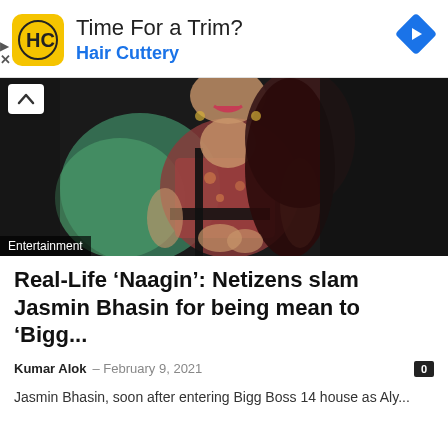[Figure (infographic): Hair Cuttery advertisement banner with yellow logo featuring HC letters, text 'Time For a Trim? Hair Cuttery', and a blue navigation diamond icon on the right]
[Figure (photo): A woman in traditional Indian attire (lehenga with green dupatta) smiling, photographed against a dark background. An 'Entertainment' label badge is overlaid in the bottom left corner.]
Real-Life ‘Naagin’: Netizens slam Jasmin Bhasin for being mean to ‘Bigg...
Kumar Alok – February 9, 2021
Jasmin Bhasin, soon after entering Bigg Boss 14 house as Aly...